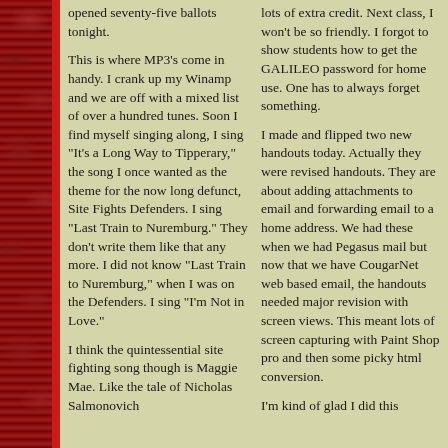opened seventy-five ballots tonight.
This is where MP3's come in handy. I crank up my Winamp and we are off with a mixed list of over a hundred tunes. Soon I find myself singing along, I sing "It's a Long Way to Tipperary," the song I once wanted as the theme for the now long defunct, Site Fights Defenders. I sing "Last Train to Nuremburg." They don't write them like that any more. I did not know "Last Train to Nuremburg," when I was on the Defenders. I sing "I'm Not in Love."
I think the quintessential site fighting song though is Maggie Mae. Like the tale of Nicholas Salmonovich
lots of extra credit. Next class, I won't be so friendly. I forgot to show students how to get the GALILEO password for home use. One has to always forget something.
I made and flipped two new handouts today. Actually they were revised handouts. They are about adding attachments to email and forwarding email to a home address. We had these when we had Pegasus mail but now that we have CougarNet web based email, the handouts needed major revision with screen views. This meant lots of screen capturing with Paint Shop pro and then some picky html conversion.
I'm kind of glad I did this